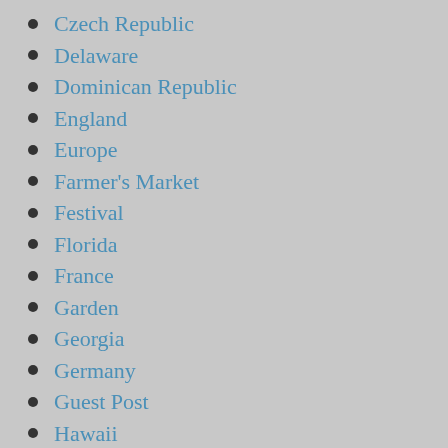Czech Republic
Delaware
Dominican Republic
England
Europe
Farmer's Market
Festival
Florida
France
Garden
Georgia
Germany
Guest Post
Hawaii
History
Holidays